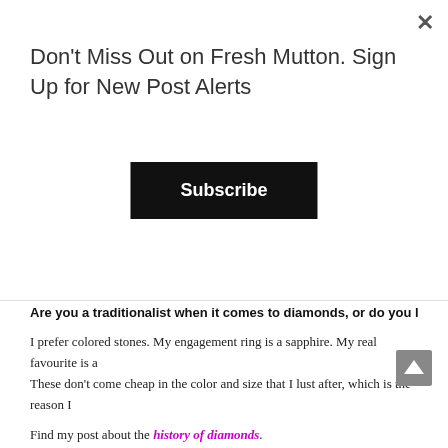Don't Miss Out on Fresh Mutton. Sign Up for New Post Alerts
Subscribe
Are you a traditionalist when it comes to diamonds, or do you like the colored
I prefer colored stones. My engagement ring is a sapphire. My real favourite is a These don't come cheap in the color and size that I lust after, which is the reason I
Find my post about the history of diamonds.
I hope you enjoyed this unusual post about diamonds and I'd love to hear your thou
Sharing this post with: On Mondays We Link Up at Glass of Glam, Top of the World Style at High Latitu #Linkup on the Edge at Shelbee on the Edge, #AnythingGoes at My Random Musings, Turning Heads at Stylesplash, TFF at Doused in Pink, Lizzie in Lace, Confident Twosday at IDoDeclare #Neverendingstyle at The Grey Brunette, Fancy Friday at Nancy's Fashion Style, Weekday W Mireille and Elegance and Mommyhood (first Sunday of the month), Stylish Monday (first Monday of the Boomer, Link Up Pot Pourri and Traffic Jam Weekend at My Bijou Life
Now it's time for the #WowOnWednesday link-up. Bloggers/Instagrammers can